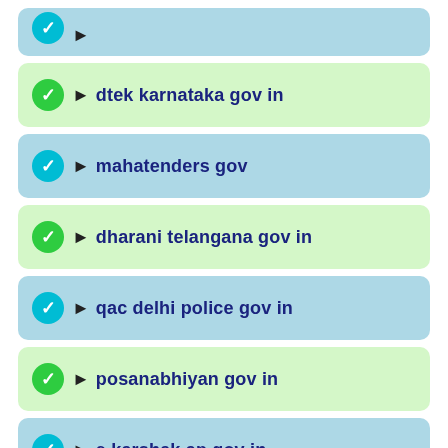dtek karnataka gov in
mahatenders gov
dharani telangana gov in
qac delhi police gov in
posanabhiyan gov in
e karshak ap gov in
poshan abhiyan.gov.in app download
swanirbhar naari assam gov in